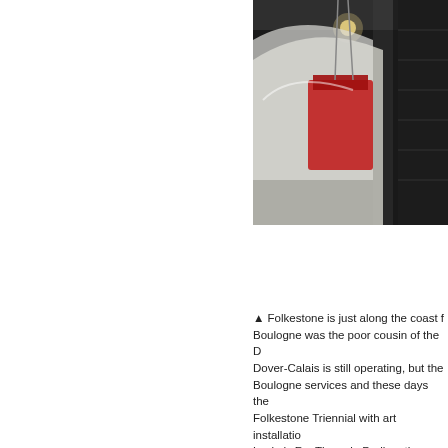[Figure (photo): Interior photograph showing items suspended from the ceiling of what appears to be a church, with dark structural beams and a red object visible, taken at an angle looking upward.]
▲ Folkestone is just along the coast fr... Boulogne was the poor cousin of the D... Dover-Calais is still operating, but the... Boulogne services and these days the... Folkestone Triennial with art installatio... Locke's For Those in Peril on the Sea... suspended from the ceiling of St Mary...